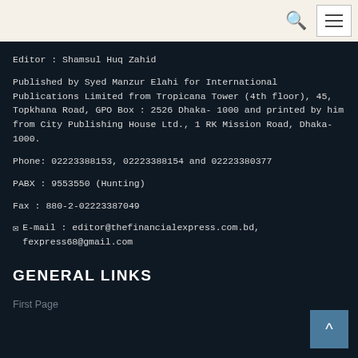[search icon] [menu button]
Editor : Shamsul Huq Zahid
Published by Syed Manzur Elahi for International Publications Limited from Tropicana Tower (4th floor), 45, Topkhana Road, GPO Box : 2526 Dhaka- 1000 and printed by him from City Publishing House Ltd., 1 RK Mission Road, Dhaka-1000.
Phone: 02223388153, 02223388154 and 02223380377
PABX : 9553550 (Hunting)
Fax : 880-2-02223387049
E-mail : editor@thefinancialexpress.com.bd, fexpress68@gmail.com
GENERAL LINKS
First Page